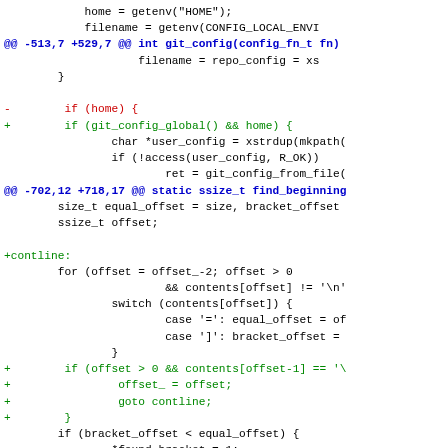[Figure (screenshot): Git diff output showing code changes in a C source file. Shows hunk headers in blue, removed lines in red, added lines in green, and context lines in black. Monospace font on white background.]